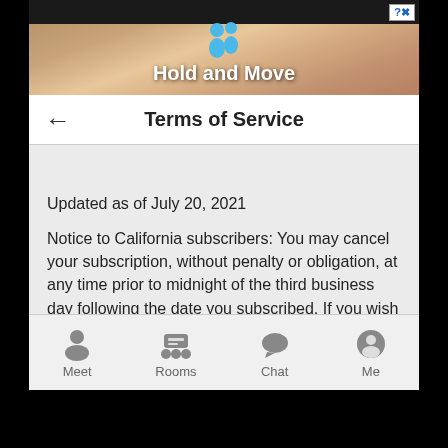[Figure (screenshot): Mobile app advertisement banner for 'Hold and Move' game with sandy/wooden background and cartoon character icons]
Terms of Service
Updated as of July 20, 2021
Notice to California subscribers: You may cancel your subscription, without penalty or obligation, at any time prior to midnight of the third business day following the date you subscribed. If you wish to request a refund please contact customer support by emailing support@mocospace.com with your account name. You may also mail or deliver a signed and dated notice which states that you, the buyer, are canceling this agreement, or words of similar effect. Please also include the email address or telephone number associated with your account along with your account name. This
Meet  Rooms  Chat  Me